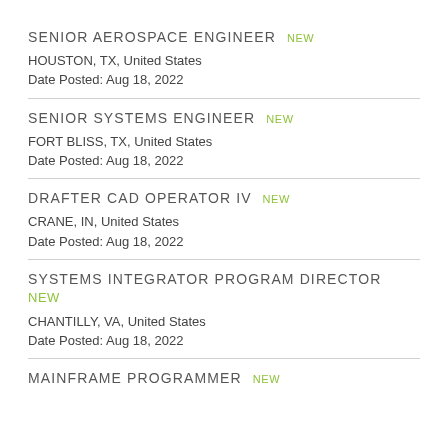SENIOR AEROSPACE ENGINEER NEW
HOUSTON, TX, United States
Date Posted: Aug 18, 2022
SENIOR SYSTEMS ENGINEER NEW
FORT BLISS, TX, United States
Date Posted: Aug 18, 2022
DRAFTER CAD OPERATOR IV NEW
CRANE, IN, United States
Date Posted: Aug 18, 2022
SYSTEMS INTEGRATOR PROGRAM DIRECTOR NEW
CHANTILLY, VA, United States
Date Posted: Aug 18, 2022
MAINFRAME PROGRAMMER NEW